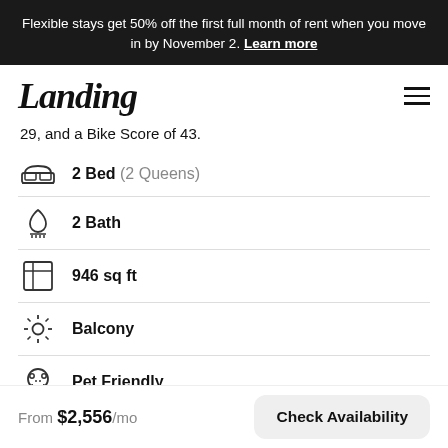Flexible stays get 50% off the first full month of rent when you move in by November 2. Learn more
Landing
29, and a Bike Score of 43.
2 Bed (2 Queens)
2 Bath
946 sq ft
Balcony
Pet Friendly
From $2,556/mo
Check Availability